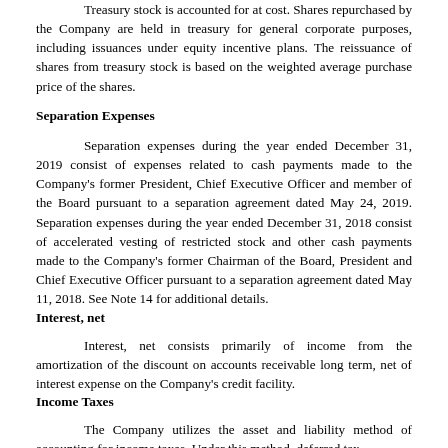Treasury stock is accounted for at cost. Shares repurchased by the Company are held in treasury for general corporate purposes, including issuances under equity incentive plans. The reissuance of shares from treasury stock is based on the weighted average purchase price of the shares.
Separation Expenses
Separation expenses during the year ended December 31, 2019 consist of expenses related to cash payments made to the Company's former President, Chief Executive Officer and member of the Board pursuant to a separation agreement dated May 24, 2019. Separation expenses during the year ended December 31, 2018 consist of accelerated vesting of restricted stock and other cash payments made to the Company's former Chairman of the Board, President and Chief Executive Officer pursuant to a separation agreement dated May 11, 2018. See Note 14 for additional details.
Interest, net
Interest, net consists primarily of income from the amortization of the discount on accounts receivable long term, net of interest expense on the Company's credit facility.
Income Taxes
The Company utilizes the asset and liability method of accounting for income taxes. Under this method, deferred tax